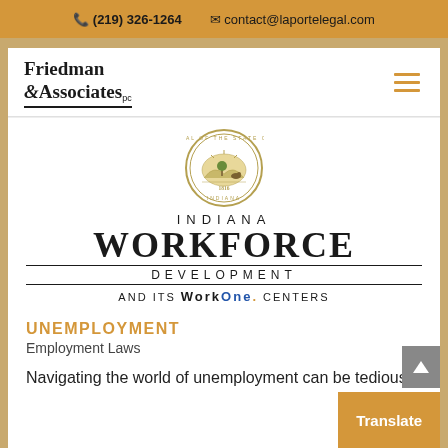(219) 326-1264  contact@laportelegal.com
Friedman & Associates pc
[Figure (logo): Indiana Workforce Development and its WorkOne Centers seal/logo with Indiana state seal medallion above text]
UNEMPLOYMENT
Employment Laws
Navigating the world of unemployment can be tedious.